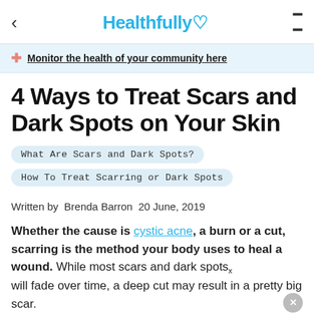< Healthfully ♥ ≡
+ Monitor the health of your community here
4 Ways to Treat Scars and Dark Spots on Your Skin
What Are Scars and Dark Spots?
How To Treat Scarring or Dark Spots
Written by  Brenda Barron  20 June, 2019
Whether the cause is cystic acne, a burn or a cut, scarring is the method your body uses to heal a wound. While most scars and dark spots will fade over time, a deep cut may result in a pretty big scar.